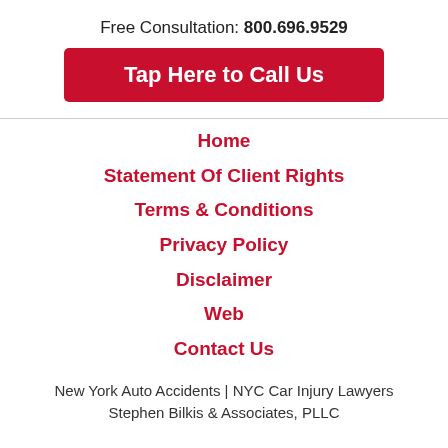Free Consultation: 800.696.9529
Tap Here to Call Us
Home
Statement Of Client Rights
Terms & Conditions
Privacy Policy
Disclaimer
Web
Contact Us
New York Auto Accidents | NYC Car Injury Lawyers Stephen Bilkis & Associates, PLLC